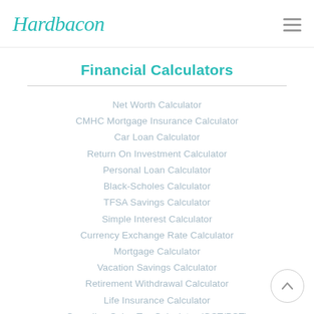Hardbacon
Financial Calculators
Net Worth Calculator
CMHC Mortgage Insurance Calculator
Car Loan Calculator
Return On Investment Calculator
Personal Loan Calculator
Black-Scholes Calculator
TFSA Savings Calculator
Simple Interest Calculator
Currency Exchange Rate Calculator
Mortgage Calculator
Vacation Savings Calculator
Retirement Withdrawal Calculator
Life Insurance Calculator
Canadian Sales Tax Calculator (GST/PST)
RRSP Savings Calculator
Investment Fees Calculator
RRSP Loan Calculator
Credit Card Repayment Calculator